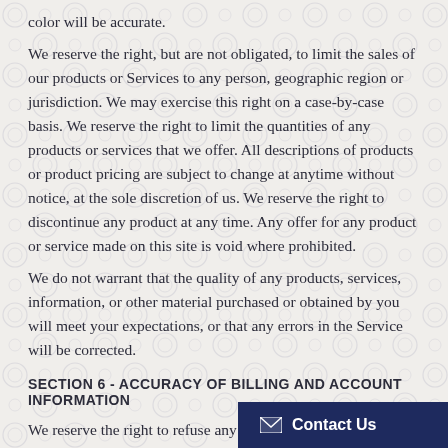color will be accurate.
We reserve the right, but are not obligated, to limit the sales of our products or Services to any person, geographic region or jurisdiction. We may exercise this right on a case-by-case basis. We reserve the right to limit the quantities of any products or services that we offer. All descriptions of products or product pricing are subject to change at anytime without notice, at the sole discretion of us. We reserve the right to discontinue any product at any time. Any offer for any product or service made on this site is void where prohibited.
We do not warrant that the quality of any products, services, information, or other material purchased or obtained by you will meet your expectations, or that any errors in the Service will be corrected.
SECTION 6 - ACCURACY OF BILLING AND ACCOUNT INFORMATION
We reserve the right to refuse any order you place with us. We may, in our sole discretion, limit or cancel quantities purchased per person, per household or per order. These res